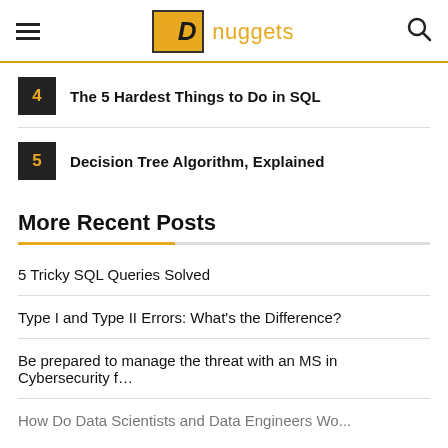KD nuggets
4 The 5 Hardest Things to Do in SQL
5 Decision Tree Algorithm, Explained
More Recent Posts
5 Tricky SQL Queries Solved
Type I and Type II Errors: What's the Difference?
Be prepared to manage the threat with an MS in Cybersecurity f...
How Do Data Scientists and Data Engineers Wo...